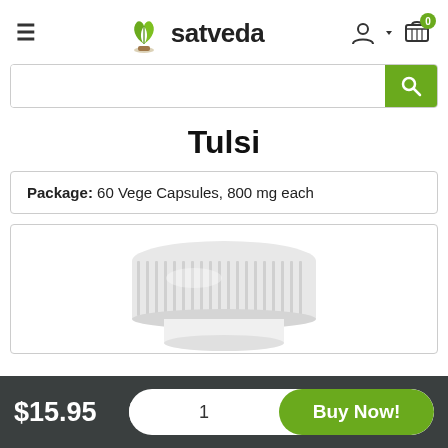[Figure (logo): Satveda logo with green leaf plant icon and brand name 'satveda' in bold text]
[Figure (screenshot): Search bar with green search button icon on the right]
Tulsi
Package: 60 Vege Capsules, 800 mg each
[Figure (photo): White plastic supplement bottle with ribbed cap, shown from above, partially cropped]
$15.95  1  Buy Now!